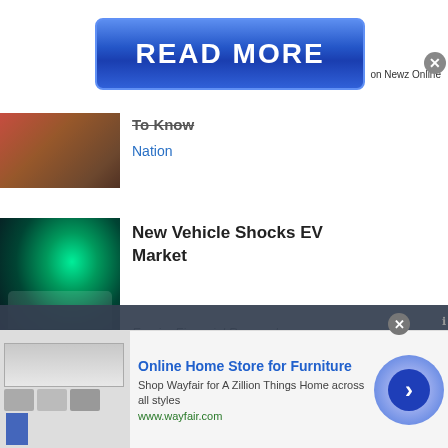[Figure (screenshot): Blue READ MORE button banner]
on Newz Online
[Figure (photo): Partially visible article image (reddish-brown tones)]
To Know
Nation
[Figure (photo): Electric vehicle charging with green light]
New Vehicle Shocks EV Market
Empire Financial Research
Our website uses cookies for analytics, advertising and to improve our site. By using our site you agree to our use of cookies. To find out more, including how to change your settings, see our Cookie Policy  Learn More
Crypto Millionaire Spills Secrets And Find Other Crypto Whales
[Figure (screenshot): Online Home Store for Furniture advertisement - Wayfair]
Online Home Store for Furniture
Shop Wayfair for A Zillion Things Home across all styles
www.wayfair.com